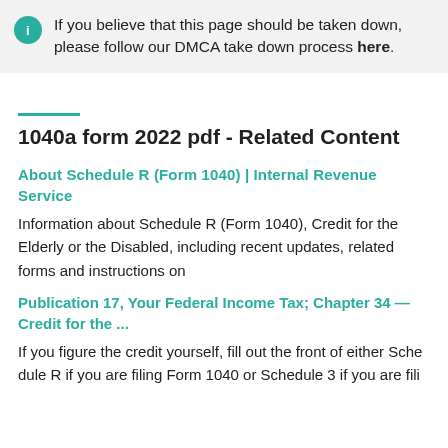If you believe that this page should be taken down, please follow our DMCA take down process here.
1040a form 2022 pdf - Related Content
About Schedule R (Form 1040) | Internal Revenue Service
Information about Schedule R (Form 1040), Credit for the Elderly or the Disabled, including recent updates, related forms and instructions on
Publication 17, Your Federal Income Tax; Chapter 34 — Credit for the ...
If you figure the credit yourself, fill out the front of either Schedule R if you are filing Form 1040 or Schedule 3 if you are filing